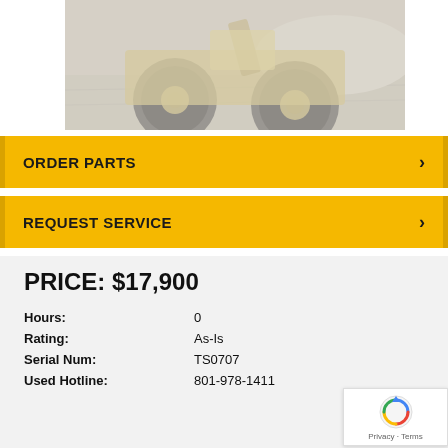[Figure (photo): Partial view of a construction wheel loader/bulldozer machine with large tires on gravel/dirt surface, faded/washed out image]
ORDER PARTS >
REQUEST SERVICE >
PRICE: $17,900
Hours: 0
Rating: As-Is
Serial Num: TS0707
Used Hotline: 801-978-1411